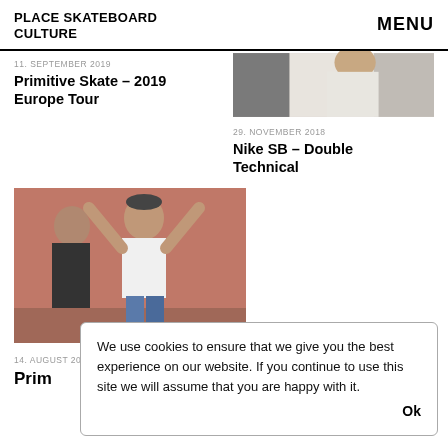PLACE SKATEBOARD CULTURE   MENU
11. SEPTEMBER 2019
Primitive Skate – 2019 Europe Tour
[Figure (photo): Photo of person in white clothing against light background (top right crop)]
29. NOVEMBER 2018
Nike SB – Double Technical
[Figure (photo): Photo of two people against a reddish-brown wall, one with arms raised wearing white t-shirt]
14. AUGUST 2020
Prim
We use cookies to ensure that we give you the best experience on our website. If you continue to use this site we will assume that you are happy with it.   Ok